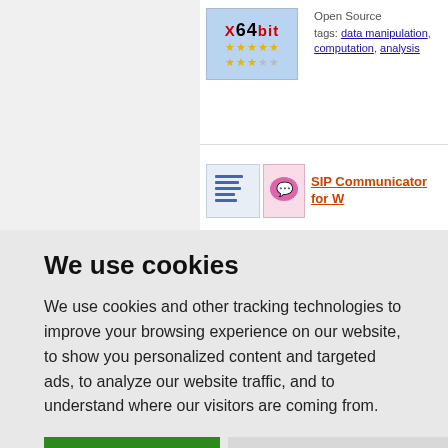[Figure (screenshot): X64bit badge with blue background and 5 green star rating, plus 2.5 orange star user rating]
Open Source
tags: data manipulation, computation, analysis
[Figure (screenshot): SIP Communicator for Windows thumbnail images]
SIP Communicator for W...
We use cookies
We use cookies and other tracking technologies to improve your browsing experience on our website, to show you personalized content and targeted ads, to analyze our website traffic, and to understand where our visitors are coming from.
I agree   Change my preferences